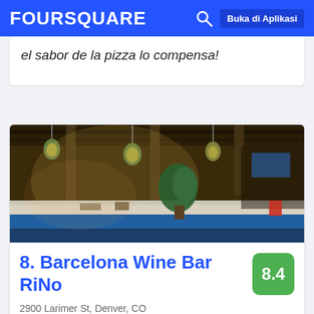FOURSQUARE  Buka di Aplikasi
el sabor de la pizza lo compensa!
[Figure (photo): Interior of Barcelona Wine Bar RiNo restaurant showing a bar counter with pendant lights, plants, and industrial-style ceiling]
8. Barcelona Wine Bar RiNo
8.4
2900 Larimer St, Denver, CO
Restoran Tapas · Curtis Park · 10 tips dan ulasan
Emilio Chavez: Not bad at all, it's a very good casual restaurant and